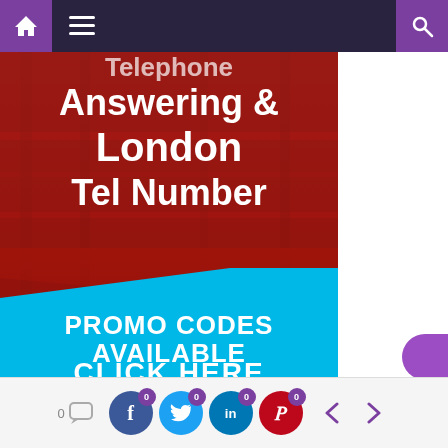Navigation bar with home, menu, and search icons
[Figure (photo): Red-tinted industrial/warehouse background image with bold white text overlay reading 'Answering & London Tel Number']
[Figure (infographic): Cyan/light blue promotional banner with bold white uppercase text: 'PROMO CODES AVAILABLE CLICK HERE']
Social sharing bar with comment count 0, Facebook share 0, Twitter share 0, LinkedIn share 0, Pinterest share 0, and navigation arrows